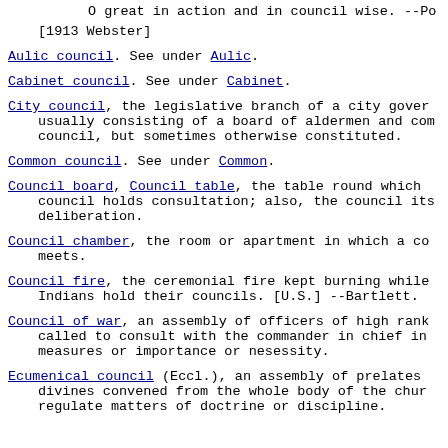O great in action and in council wise. --Po [1913 Webster]
Aulic council. See under Aulic.
Cabinet council. See under Cabinet.
City council, the legislative branch of a city gover usually consisting of a board of aldermen and com council, but sometimes otherwise constituted.
Common council. See under Common.
Council board, Council table, the table round which council holds consultation; also, the council its deliberation.
Council chamber, the room or apartment in which a co meets.
Council fire, the ceremonial fire kept burning while Indians hold their councils. [U.S.] --Bartlett.
Council of war, an assembly of officers of high rank called to consult with the commander in chief in measures or importance or nesessity.
Ecumenical council (Eccl.), an assembly of prelates divines convened from the whole body of the chur regulate matters of doctrine or discipline.